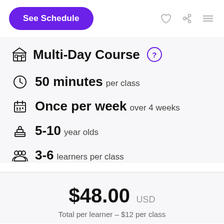[Figure (screenshot): Top navigation bar with purple 'See Schedule' button, heart icon, share icon, and hamburger menu icon]
Multi-Day Course
50 minutes per class
Once per week over 4 weeks
5-10 year olds
3-6 learners per class
$48.00 USD
Total per learner - $12 per class